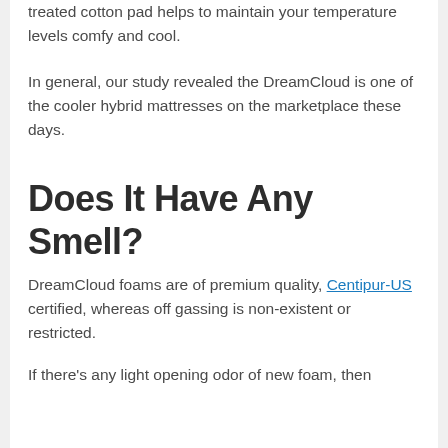The top Cashmere textile, combined with the heat treated cotton pad helps to maintain your temperature levels comfy and cool.
In general, our study revealed the DreamCloud is one of the cooler hybrid mattresses on the marketplace these days.
Does It Have Any Smell?
DreamCloud foams are of premium quality, Centipur-US certified, whereas off gassing is non-existent or restricted.
If there's any light opening odor of new foam, then